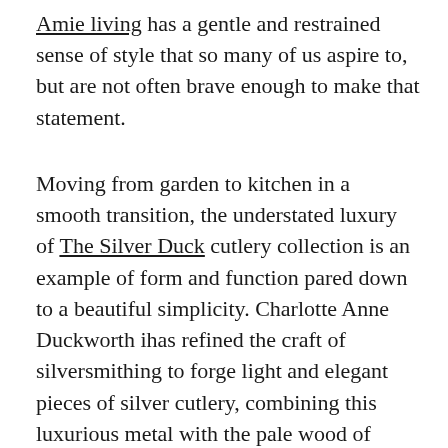Amie living has a gentle and restrained sense of style that so many of us aspire to, but are not often brave enough to make that statement.
Moving from garden to kitchen in a smooth transition, the understated luxury of The Silver Duck cutlery collection is an example of form and function pared down to a beautiful simplicity. Charlotte Anne Duckworth ihas refined the craft of silversmithing to forge light and elegant pieces of silver cutlery, combining this luxurious metal with the pale wood of holly for the handles. I personally can't resist a lovely wooden box, and Charlotte has presented her pieces in simple presentation boxes, with the pieces of cutlery